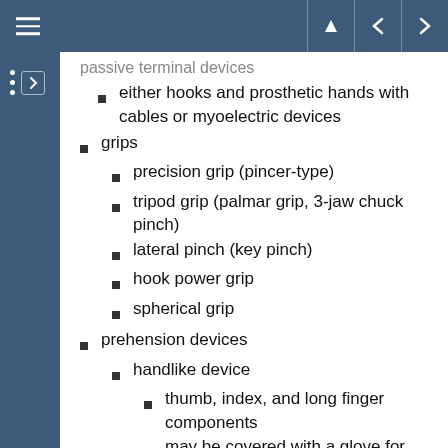navigation header with hamburger menu and navigation icons
passive terminal devices (truncated, continuing from previous page)
either hooks and prosthetic hands with cables or myoelectric devices
grips
precision grip (pincer-type)
tripod grip (palmar grip, 3-jaw chuck pinch)
lateral pinch (key pinch)
hook power grip
spherical grip
prehension devices
handlike device
thumb, index, and long finger components
may be covered with a glove for better cosmesis
good choice for office worker
non-hand prehension device
hook or two-finger pincer with (continues)